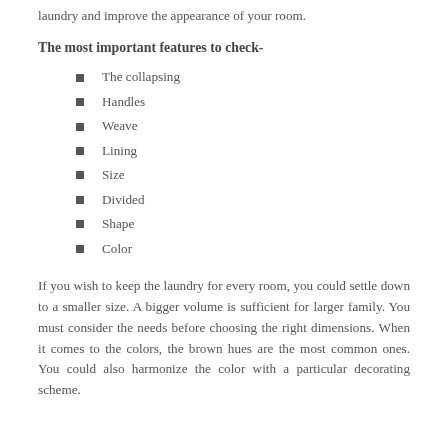laundry and improve the appearance of your room.
The most important features to check-
The collapsing
Handles
Weave
Lining
Size
Divided
Shape
Color
If you wish to keep the laundry for every room, you could settle down to a smaller size. A bigger volume is sufficient for larger family. You must consider the needs before choosing the right dimensions. When it comes to the colors, the brown hues are the most common ones. You could also harmonize the color with a particular decorating scheme.